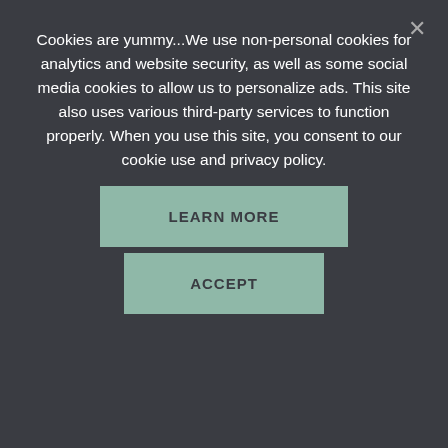Cookies are yummy...We use non-personal cookies for analytics and website security, as well as some social media cookies to allow us to personalize ads. This site also uses various third-party services to function properly. When you use this site, you consent to our cookie use and privacy policy.
LEARN MORE
ACCEPT
contest going on. They're looking for creative photos or videos that debunk myths about nature and are giving away a school visit and free copies of their book to the winner. The contest is open until November 23 – go to FalconGuides' website to find out more details on how to enter.